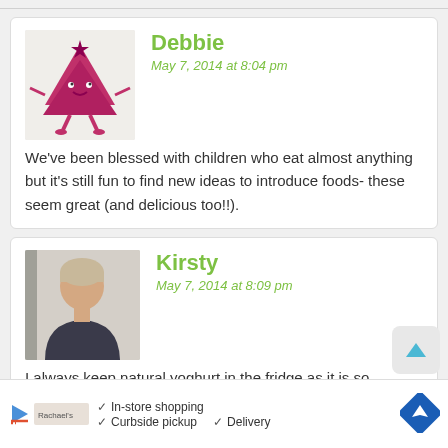Debbie
May 7, 2014 at 8:04 pm
We've been blessed with children who eat almost anything but it's still fun to find new ideas to introduce foods- these seem great (and delicious too!!).
Kirsty
May 7, 2014 at 8:09 pm
I always keep natural yoghurt in the fridge as it is so versatile. I love to have it with meat and flatbreads with mint mixed in and for breakfast with oats, berried and honey. Delicious!
[Figure (infographic): Advertisement bar with store pickup/delivery options and navigation icon]